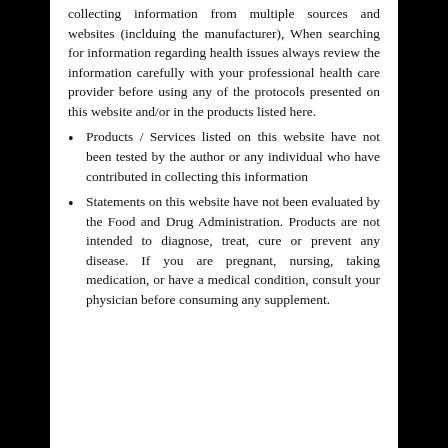collecting information from multiple sources and websites (inclduing the manufacturer), When searching for information regarding health issues always review the information carefully with your professional health care provider before using any of the protocols presented on this website and/or in the products listed here.
Products / Services listed on this website have not been tested by the author or any individual who have contributed in collecting this information
Statements on this website have not been evaluated by the Food and Drug Administration. Products are not intended to diagnose, treat, cure or prevent any disease. If you are pregnant, nursing, taking medication, or have a medical condition, consult your physician before consuming any supplement.